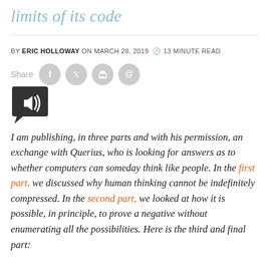limits of its code
BY ERIC HOLLOWAY ON MARCH 28, 2019 🕐 13 MINUTE READ
[Figure (infographic): Share icons row with Facebook, Twitter, Print, and Email circle icons in gray, followed by a dark speech-bubble audio button with a speaker icon]
I am publishing, in three parts and with his permission, an exchange with Querius, who is looking for answers as to whether computers can someday think like people. In the first part, we discussed why human thinking cannot be indefinitely compressed. In the second part, we looked at how it is possible, in principle, to prove a negative without enumerating all the possibilities. Here is the third and final part: